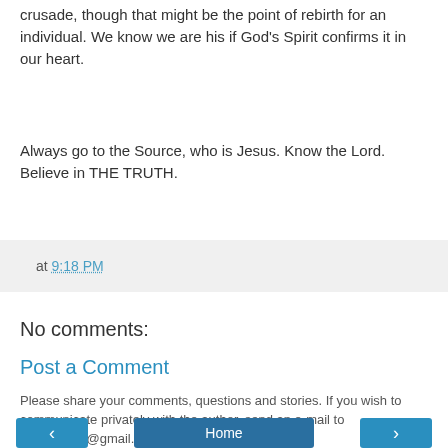crusade, though that might be the point of rebirth for an individual. We know we are his if God's Spirit confirms it in our heart.
Always go to the Source, who is Jesus. Know the Lord. Believe in THE TRUTH.
at 9:18 PM
No comments:
Post a Comment
Please share your comments, questions and stories. If you wish to communicate privately with the author, send an e-mail to mfisch2014@gmail.com